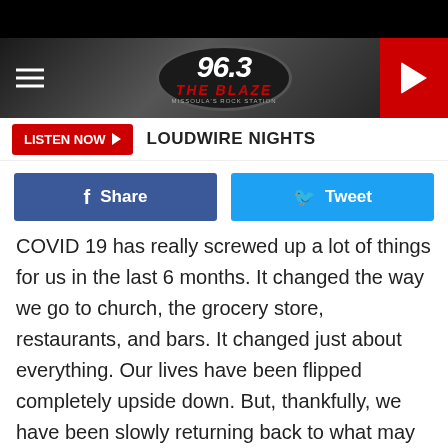[Figure (logo): 96.3 The Blaze - Missoula's Rock Station radio station logo in oval, with hamburger menu icon, on dark gradient header background with red play button on the right]
LISTEN NOW ▶  LOUDWIRE NIGHTS
f Share   🐦 Tweet
COVID 19 has really screwed up a lot of things for us in the last 6 months. It changed the way we go to church, the grocery store, restaurants, and bars. It changed just about everything. Our lives have been flipped completely upside down. But, thankfully, we have been slowly returning back to what may be a somewhat normal way of life. With the slow phasing back into the way it was 6 months ago, we have seen more restaurants open, more church services and even the return of movie theaters. There is one thing that has been